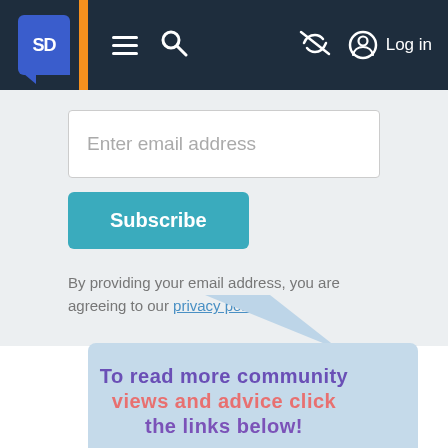SD | Log in
Enter email address
Subscribe
By providing your email address, you are agreeing to our privacy policy.
[Figure (illustration): Light blue speech bubble with pointed tab at top, containing decorative text: 'To read more community views and advice click the links below!']